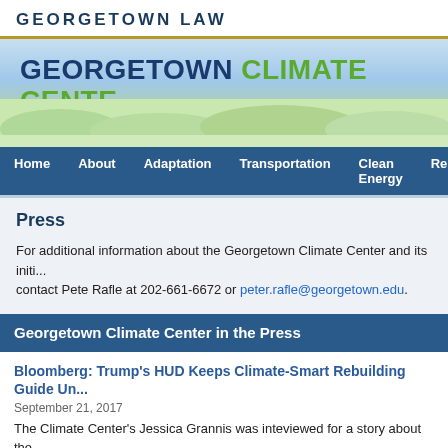GEORGETOWN LAW
[Figure (illustration): Georgetown Climate Center banner with blue sky, green grass background. Text reads: GEORGETOWN CLIMATE CENTER - A Leading Resource for State and Federal Po...]
Home | About | Adaptation | Transportation | Clean Energy | Repor...
Press
For additional information about the Georgetown Climate Center and its initi... contact Pete Rafle at 202-661-6672 or peter.rafle@georgetown.edu.
Georgetown Climate Center in the Press
Bloomberg: Trump's HUD Keeps Climate-Smart Rebuilding Guide Un...
September 21, 2017
The Climate Center's Jessica Grannis was inteviewed for a story about the... report developed to help local officials consider climate risk. Bloomberg re...